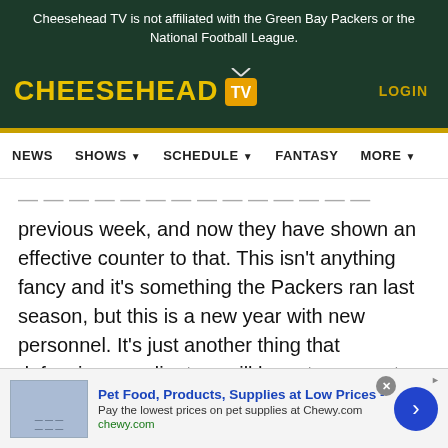Cheesehead TV is not affiliated with the Green Bay Packers or the National Football League.
[Figure (logo): Cheesehead TV logo with yellow text and orange TV box icon, LOGIN link on right]
[Figure (other): Navigation bar with NEWS, SHOWS, SCHEDULE, FANTASY, MORE menu items]
...ongly different variations of Rodgers and previous week, and now they have shown an effective counter to that. This isn't anything fancy and it's something the Packers ran last season, but this is a new year with new personnel. It's just another thing that defensive coordinators will have to account for, which can help open back up
[Figure (other): Advertisement banner: Pet Food, Products, Supplies at Low Prices - Pay the lowest prices on pet supplies at Chewy.com, chewy.com]